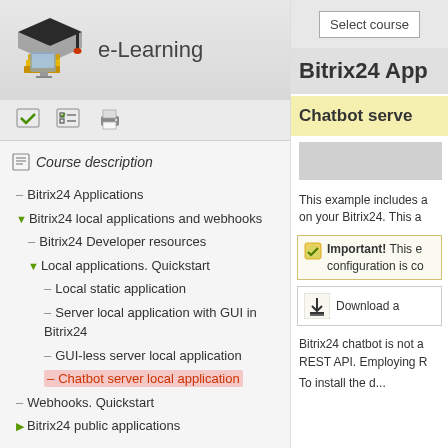[Figure (logo): e-Learning site logo with graduation cap and books]
e-Learning
[Figure (illustration): Toolbar icons: checkmark, checklist, and print icons]
Course description
Bitrix24 Applications
Bitrix24 local applications and webhooks
Bitrix24 Developer resources
Local applications. Quickstart
Local static application
Server local application with GUI in Bitrix24
GUI-less server local application
Chatbot server local application
Webhooks. Quickstart
Bitrix24 public applications
[Figure (screenshot): Select course button in right panel]
Bitrix24 App
Chatbot serve
[Figure (illustration): Gray input/search box]
This example includes a on your Bitrix24. This a
Important! This e configuration is co
Download a
Bitrix24 chatbot is not a REST API. Employing R
To install the d...